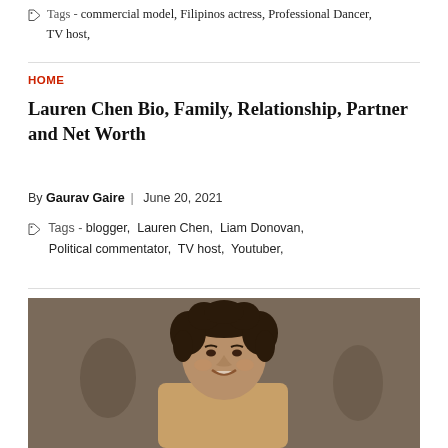Tags - commercial model, Filipinos actress, Professional Dancer, TV host,
HOME
Lauren Chen Bio, Family, Relationship, Partner and Net Worth
By Gaurav Gaire | June 20, 2021
Tags - blogger, Lauren Chen, Liam Donovan, Political commentator, TV host, Youtuber,
[Figure (photo): Photo of Lauren Chen, a woman with curly dark hair, smiling, in an indoor setting]